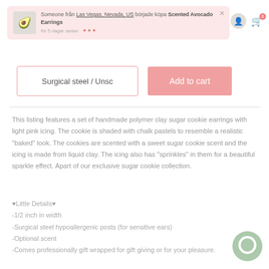[Figure (screenshot): E-commerce product page screenshot showing a social proof notification banner, product options dropdown, add to cart button, product description, and product details list]
Someone från Las Vegas, Nevada, US började köpa Scented Avocado Earrings för 5 dagar sedan
Surgical steel / Unsc
Add to cart
This listing features a set of handmade polymer clay sugar cookie earrings with light pink icing. The cookie is shaded with chalk pastels to resemble a realistic 'baked' look. The cookies are scented with a sweet sugar cookie scent and the icing is made from liquid clay. The icing also has "sprinkles" in them for a beautiful sparkle effect. Apart of our exclusive sugar cookie collection.
♥Little Details♥
-1/2 inch in width
-Surgical steel hypoallergenic posts (for sensitive ears)
-Optional scent
-Comes professionally gift wrapped for gift giving or for your pleasure.